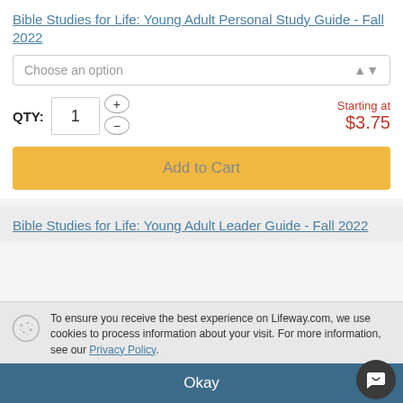Bible Studies for Life: Young Adult Personal Study Guide - Fall 2022
[Figure (screenshot): Dropdown selector with 'Choose an option' placeholder and up/down arrow]
QTY: 1  Starting at $3.75
Add to Cart
Bible Studies for Life: Young Adult Leader Guide - Fall 2022
To ensure you receive the best experience on Lifeway.com, we use cookies to process information about your visit. For more information, see our Privacy Policy.
Okay